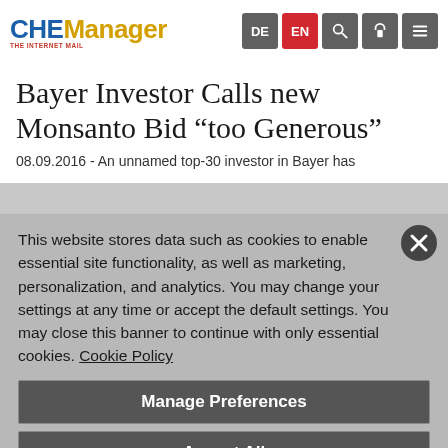CHEManager — DE | EN navigation header
Bayer Investor Calls new Monsanto Bid “too Generous”
08.09.2016 - An unnamed top-30 investor in Bayer has
This website stores data such as cookies to enable essential site functionality, as well as marketing, personalization, and analytics. You may change your settings at any time or accept the default settings. You may close this banner to continue with only essential cookies. Cookie Policy
Manage Preferences
Accept All
Reject All